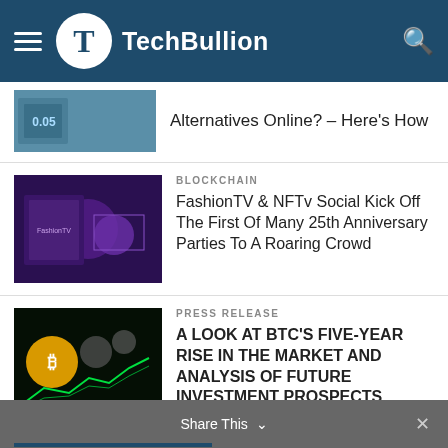TechBullion
Alternatives Online? – Here's How
BLOCKCHAIN
FashionTV & NFTv Social Kick Off The First Of Many 25th Anniversary Parties To A Roaring Crowd
PRESS RELEASE
A LOOK AT BTC'S FIVE-YEAR RISE IN THE MARKET AND ANALYSIS OF FUTURE INVESTMENT PROSPECTS
LIKE US ON FACEBOOK
LATEST INTERVIEW
Share This